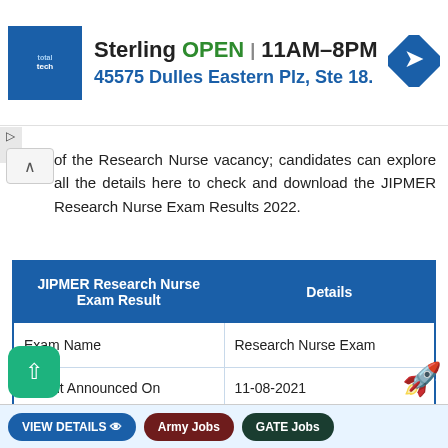[Figure (screenshot): Advertisement banner for Sterling store showing OPEN 11AM-8PM, 45575 Dulles Eastern Plz, Ste 18, with totaltech logo and navigation arrow icon]
of the Research Nurse vacancy; candidates can explore all the details here to check and download the JIPMER Research Nurse Exam Results 2022.
| JIPMER Research Nurse Exam Result | Details |
| --- | --- |
| Exam Name | Research Nurse Exam |
| Result Announced On | 11-08-2021 |
| Result Link | Click Here |
[Figure (screenshot): Bottom navigation bar with VIEW DETAILS, Army Jobs, and GATE Jobs buttons, share icon (green), and rocket icon (blue)]